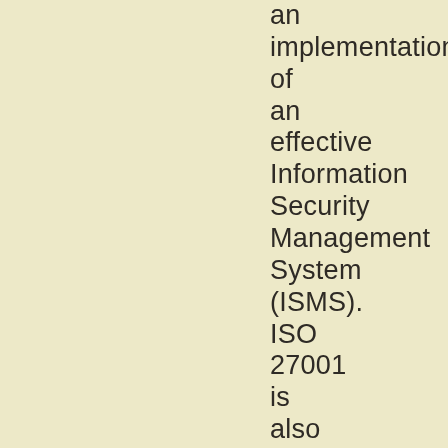an implementation of an effective Information Security Management System (ISMS). ISO 27001 is also known under its more precise name ISO/IEC 27001:2005